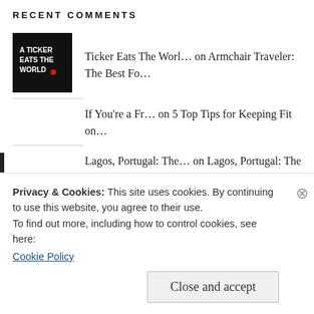RECENT COMMENTS
[Figure (photo): Small thumbnail image: black background with white text reading 'A TICKER EATS THE WORLD' with a red dot]
Ticker Eats The Worl… on Armchair Traveler: The Best Fo…
If You're a Fr… on 5 Top Tips for Keeping Fit on…
Lagos, Portugal: The… on Lagos, Portugal: The Best Beac…
[Figure (photo): Small thumbnail image: white background with red and white checkered/diamond pattern]
Big kev on Summer Break: I'm Baaaaa…
Privacy & Cookies: This site uses cookies. By continuing to use this website, you agree to their use.
To find out more, including how to control cookies, see here: Cookie Policy
Close and accept